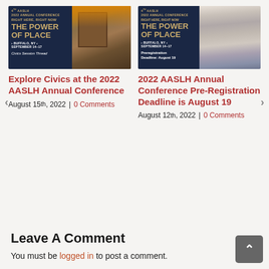[Figure (photo): AASLH 2022 Annual Conference 'The Power of Place' banner for Civics Session Thread, showing historic building]
[Figure (photo): AASLH 2022 Annual Conference 'The Power of Place' banner showing city skyline, with Preregistration Deadline August 19]
Explore Civics at the 2022 AASLH Annual Conference
August 15th, 2022  |  0 Comments
2022 AASLH Annual Conference Pre-Registration Deadline is August 19
August 12th, 2022  |  0 Comments
Leave A Comment
You must be logged in to post a comment.